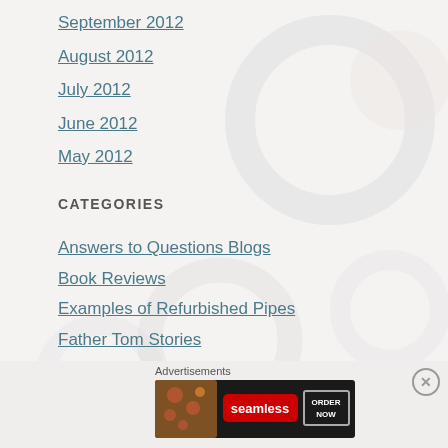September 2012
August 2012
July 2012
June 2012
May 2012
CATEGORIES
Answers to Questions Blogs
Book Reviews
Examples of Refurbished Pipes
Father Tom Stories
Metal Pipes
Pipe and Tobacco Historical Documents
[Figure (infographic): Seamless food ordering advertisement banner with pizza image, Seamless logo, and ORDER NOW button]
Advertisements